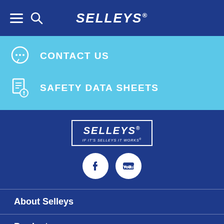SELLEYS
CONTACT US
SAFETY DATA SHEETS
[Figure (logo): Selleys logo with tagline 'IF IT'S SELLEYS IT WORKS']
[Figure (other): Facebook and YouTube social media icons]
About Selleys
Products
Brands